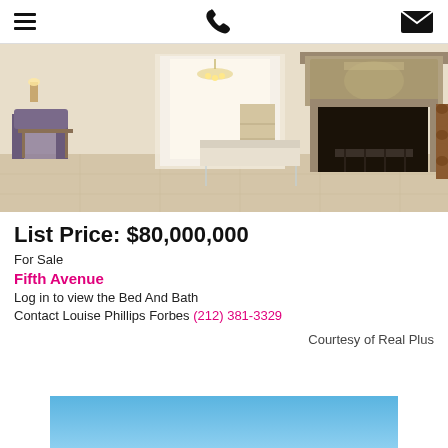Menu | Phone | Email
[Figure (photo): Interior of a luxury residence showing a grand living room with a large ornate stone fireplace, stacked firewood, light beige marble floors, classic French chairs, a glass coffee table, and a hallway with staircase in the background]
List Price: $80,000,000
For Sale
Fifth Avenue
Log in to view the Bed And Bath
Contact Louise Phillips Forbes (212) 381-3329
Courtesy of Real Plus
[Figure (photo): Partial view of a second property photo showing a light blue sky at the bottom of the page]